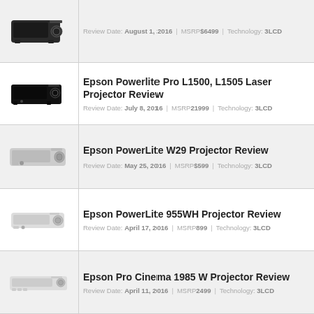Review Date: August 1, 2016 | MSRP $6499 | Technology: 3LCD
Epson Powerlite Pro L1500, L1505 Laser Projector Review
Review Date: July 8, 2016 | MSRP 21999 | Technology: 3LCD
Epson PowerLite W29 Projector Review
Review Date: May 25, 2016 | MSRP $599 | Technology: 3LCD
Epson PowerLite 955WH Projector Review
Review Date: April 17, 2016 | MSRP 899 | Technology: 3LCD
Epson Pro Cinema 1985 W Projector Review
Review Date: April 11, 2016 | MSRP 2499 | Technology: 3LCD